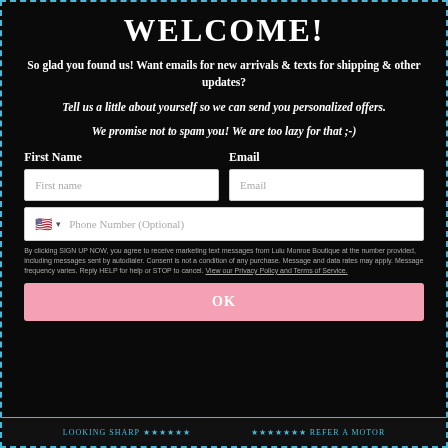WELCOME!
So glad you found us! Want emails for new arrivals & texts for shipping & other updates?
Tell us a little about yourself so we can send you personalized offers.
We promise not to spam you! We are too lazy for that ;-)
First Name
Email
Phone Number (Optional)
By clicking SIGN UP NOW, you agree to receive marketing text messages from Lulu Monroe Boutique at the number provided, including messages sent by autodialer. Consent is not a condition of any purchase. Message and data rates may apply. Message frequency varies. Reply HELP for help or STOP to cancel. View our Privacy Policy and Terms of Service.
OK
LOOKING SHARP ★★★★★★★★★★★ REFER A MOTOR